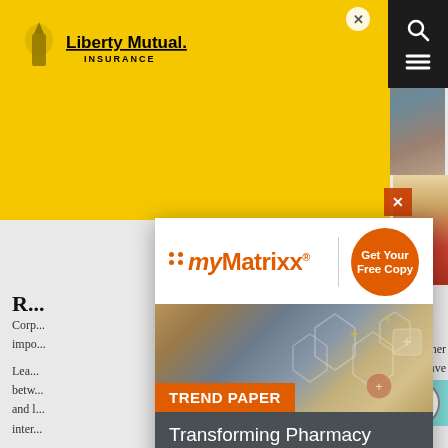[Figure (screenshot): Liberty Mutual Insurance website with myMatrixx popup advertisement overlay. Background shows Liberty Mutual yellow logo area and partially visible webpage content about corporate responsibility. Foreground shows a white popup card with myMatrixx logo, orange 'Get Your Free Copy' circle button, a hexagonal technology image, orange 'TREND PAPER' label, dark gray section with title 'Transforming Pharmacy Workflows with Automation & Decision Intelligence', and a teal 'Learn here' button at bottom.]
myMatrixx
Get Your Free Copy
TREND PAPER
Transforming Pharmacy Workflows with Automation & Decision Intelligence
public scrutiny.
Learn here